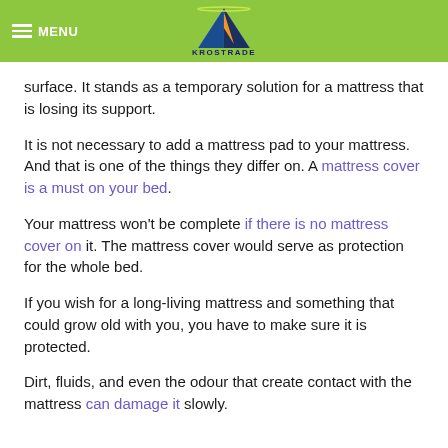MENU | KROSTRADE
surface. It stands as a temporary solution for a mattress that is losing its support.
It is not necessary to add a mattress pad to your mattress. And that is one of the things they differ on. A mattress cover is a must on your bed.
Your mattress won't be complete if there is no mattress cover on it. The mattress cover would serve as protection for the whole bed.
If you wish for a long-living mattress and something that could grow old with you, you have to make sure it is protected.
Dirt, fluids, and even the odour that create contact with the mattress can damage it slowly.